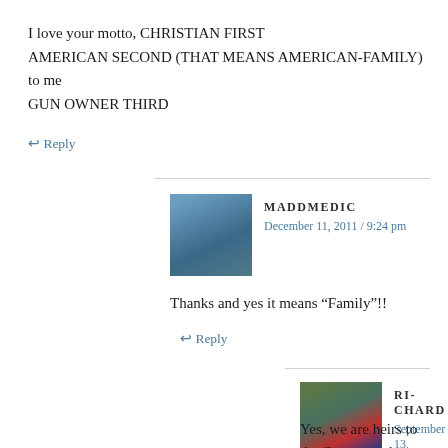I love your motto, CHRISTIAN FIRST AMERICAN SECOND (THAT MEANS AMERICAN-FAMILY) to me GUN OWNER THIRD
↩ Reply
MADDMEDIC
December 11, 2011 / 9:24 pm
Thanks and yes it means “Family”!!
↩ Reply
RI-CHARD
September 13, 2021 / 5:29 pm
Yes, we are heirs to the Creator and supposed to be the administrators.